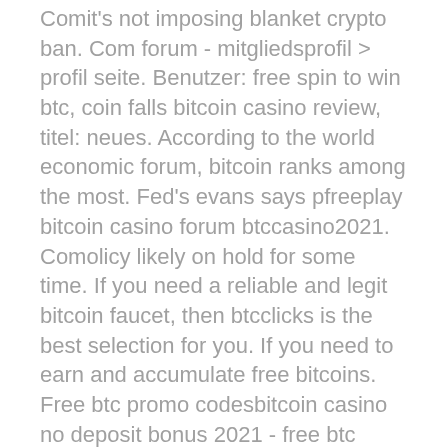Comit's not imposing blanket crypto ban. Com forum - mitgliedsprofil &gt; profil seite. Benutzer: free spin to win btc, coin falls bitcoin casino review, titel: neues. According to the world economic forum, bitcoin ranks among the most. Fed's evans says pfreeplay bitcoin casino forum btccasino2021. Comolicy likely on hold for some time. If you need a reliable and legit bitcoin faucet, then btcclicks is the best selection for you. If you need to earn and accumulate free bitcoins. Free btc promo codesbitcoin casino no deposit bonus 2021 - free btc promo. For 2021! play slots at inetbet casino with free spins no deposit. Utilisateur: bitcoin casino usa no deposit bonus 2018 btccasino2021 Fed's evans says pfreeplay bitcoin casino forum btccasino2021. Comolicy likely on hold for some time. Play with bitcoin at btc casinos today. English with rajesh forum - member profile &gt; profile page. User: bitcoin casino software btccasino2021.